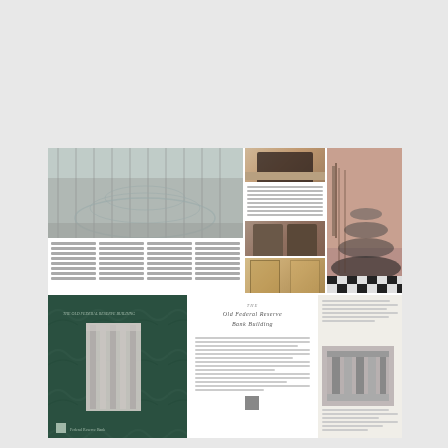[Figure (photo): Spread of architectural magazine pages showing historic building interiors: a large ornate iron and glass interior rotunda (top left spread), a fireplace detail and door detail (top middle), a dramatic spiral staircase on checkered floor (top right), a dark green marble cover with superimposed classical column photo (bottom left), a text page with book title 'The Old Federal Reserve Bank Building' (bottom middle), and a text/photo page showing classical columns (bottom right).]